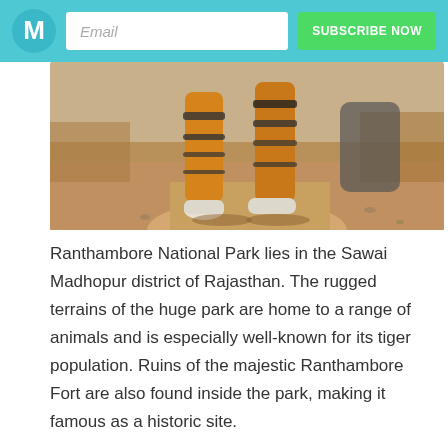Email | SUBSCRIBE NOW
[Figure (photo): Close-up photo of a tiger's legs and lower body walking on a dirt path in a dry, scrubby landscape. The tiger's orange fur with black stripes and white paws are visible.]
Ranthambore National Park lies in the Sawai Madhopur district of Rajasthan. The rugged terrains of the huge park are home to a range of animals and is especially well-known for its tiger population. Ruins of the majestic Ranthambore Fort are also found inside the park, making it famous as a historic site.
Safari in Ranthambore
This haven for wildlife lovers can be explored by an open jeep safari or a Canter safari. A Jeep carries a